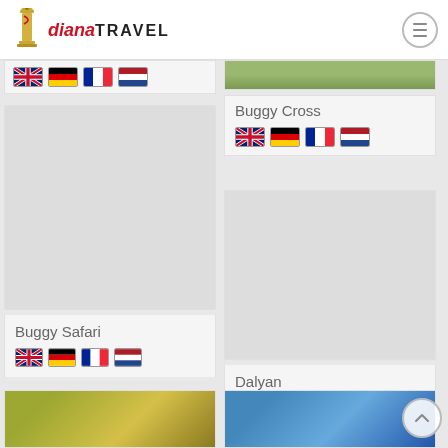[Figure (logo): Diana Travel logo with icon and red/black text]
[Figure (illustration): Landscape photo partially visible at top right]
Buggy Cross
[Figure (illustration): Four country flags: UK, Germany, France, Netherlands (Buggy Cross)]
[Figure (illustration): Four country flags: UK, Germany, France, Netherlands (left column partial)]
[Figure (photo): Large grey image card for Buggy Safari]
Buggy Safari
[Figure (illustration): Four country flags: UK, Germany, France, Netherlands (Buggy Safari)]
[Figure (photo): Large grey image card for Dalyan]
Dalyan
[Figure (illustration): Four country flags: UK, Germany, France, Netherlands (Dalyan)]
[Figure (photo): Bottom partial landscape photo left]
[Figure (photo): Bottom partial landscape photo right]